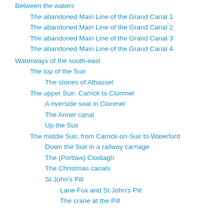Between the waters
The abandoned Main Line of the Grand Canal 1
The abandoned Main Line of the Grand Canal 2
The abandoned Main Line of the Grand Canal 3
The abandoned Main Line of the Grand Canal 4
Waterways of the south-east
The top of the Suir
The stones of Athassel
The upper Suir: Carrick to Clonmel
A riverside seat in Clonmel
The Anner canal
Up the Suir
The middle Suir, from Carrick-on-Suir to Waterford
Down the Suir in a railway carriage
The (Portlaw) Clodiagh
The Christmas canals
St John's Pill
Lane Fox and St John's Pill
The crane at the Pill